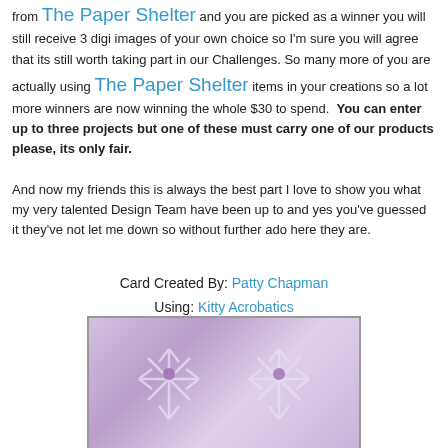from The Paper Shelter and you are picked as a winner you will still receive 3 digi images of your own choice so I'm sure you will agree that its still worth taking part in our Challenges. So many more of you are actually using The Paper Shelter items in your creations so a lot more winners are now winning the whole $30 to spend. You can enter up to three projects but one of these must carry one of our products please, its only fair.
And now my friends this is always the best part I love to show you what my very talented Design Team have been up to and yes you've guessed it they've not let me down so without further ado here they are.
Card Created By: Patty Chapman
Using: Kitty Acrobatics
[Figure (photo): A handmade card with a purple/lavender background featuring white snowflake embossed designs with small heart centers, and a small decorative element at the bottom center.]